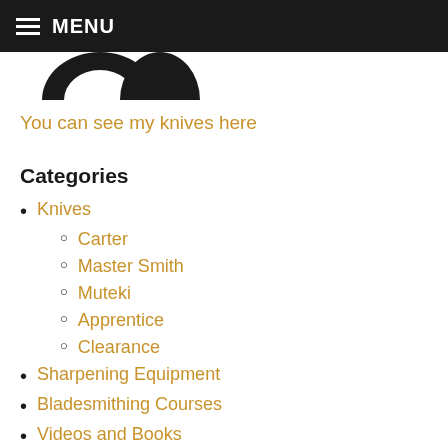MENU
[Figure (logo): Partial circular logo in black and white, cropped at top]
You can see my knives here
Categories
Knives
Carter
Master Smith
Muteki
Apprentice
Clearance
Sharpening Equipment
Bladesmithing Courses
Videos and Books
Merchandise
T-Shirts